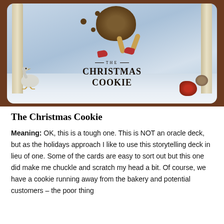[Figure (illustration): A children's book cover illustration showing 'The Christmas Cookie' — a round cookie creature with red boots running away across a snowy scene, with a white goose on the left, scattered cookie balls in the air, stone columns at the edges, and a small red creature at bottom right. The card sits on a wooden surface.]
The Christmas Cookie
Meaning: OK, this is a tough one. This is NOT an oracle deck, but as the holidays approach I like to use this storytelling deck in lieu of one. Some of the cards are easy to sort out but this one did make me chuckle and scratch my head a bit. Of course, we have a cookie running away from the bakery and potential customers – the poor thing